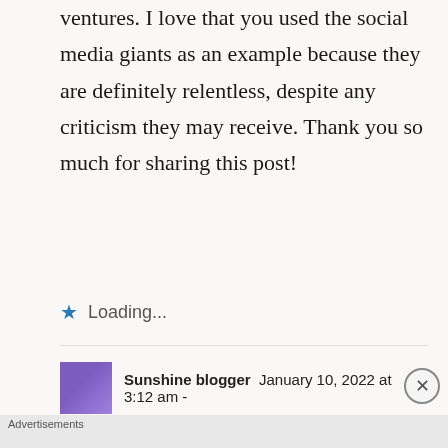ventures. I love that you used the social media giants as an example because they are definitely relentless, despite any criticism they may receive. Thank you so much for sharing this post!
Loading...
Sunshine blogger  January 10, 2022 at 3:12 am -
[Figure (screenshot): DuckDuckGo advertisement banner with orange/red background. Text reads: Search, browse, and email with more privacy. All in One Free App. Shows a phone with DuckDuckGo logo and brand name.]